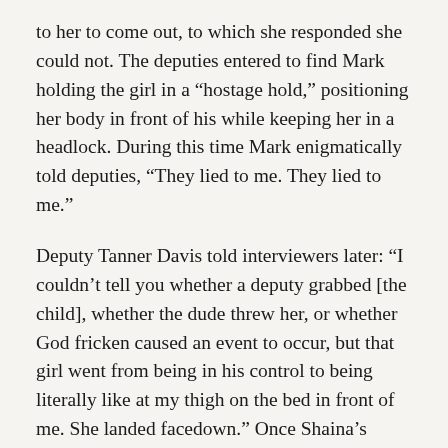to her to come out, to which she responded she could not. The deputies entered to find Mark holding the girl in a “hostage hold,” positioning her body in front of his while keeping her in a headlock. During this time Mark enigmatically told deputies, “They lied to me. They lied to me.”
Deputy Tanner Davis told interviewers later: “I couldn’t tell you whether a deputy grabbed [the child], whether the dude threw her, or whether God fricken caused an event to occur, but that girl went from being in his control to being literally like at my thigh on the bed in front of me. She landed facedown.” Once Shaina’s daughter was clear,